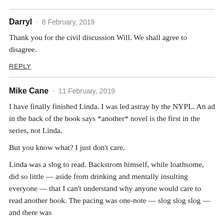Darryl · 8 February, 2019
Thank you for the civil discussion Will. We shall agree to disagree.
REPLY
Mike Cane · 11 February, 2019
I have finally finished Linda. I was led astray by the NYPL. An ad in the back of the book says *another* novel is the first in the series, not Linda.
But you know what? I just don't care.
Linda was a slog to read. Backstrom himself, while loathsome, did so little — aside from drinking and mentally insulting everyone — that I can't understand why anyone would care to read another book. The pacing was one-note — slog slog slog — and there was